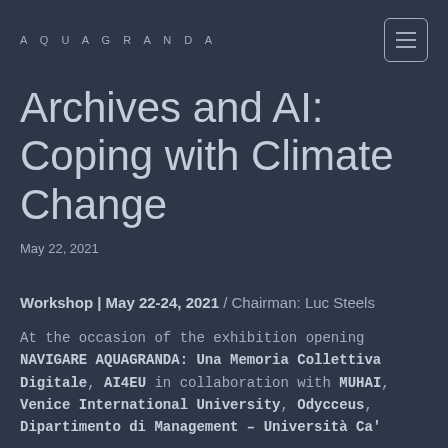AQUAGRANDA
Archives and AI: Coping with Climate Change
May 22, 2021
Workshop | May 22-24, 2021 / Chairman: Luc Steels
At the occasion of the exhibition opening NAVIGARE AQUAGRANDA: Una Memoria Collettiva Digitale, AI4EU in collaboration with MUHAI, Venice International University, Odycceus, Dipartimento di Management – Università Ca'